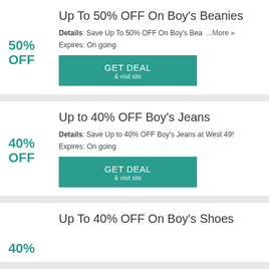Up To 50% OFF On Boy's Beanies
Details: Save Up To 50% OFF On Boy's Bea ...More »
Expires: On going
[Figure (other): GET DEAL & visit site button (teal)]
Up to 40% OFF Boy's Jeans
Details: Save Up to 40% OFF Boy's Jeans at West 49!
Expires: On going
[Figure (other): GET DEAL & visit site button (teal)]
Up To 40% OFF On Boy's Shoes